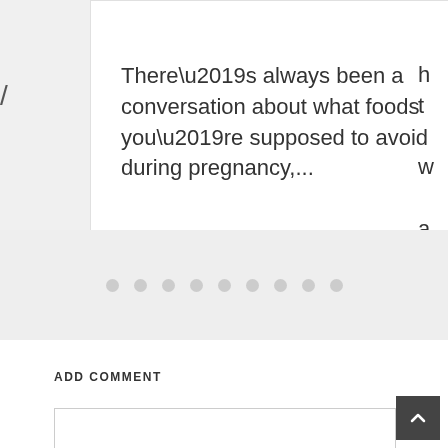There’s always been a conversation about what foods you’re supposed to avoid during pregnancy,...
[Figure (other): Carousel pagination dots — nine circular dots in a row]
ADD COMMENT
[Figure (screenshot): Empty comment text input box with border]